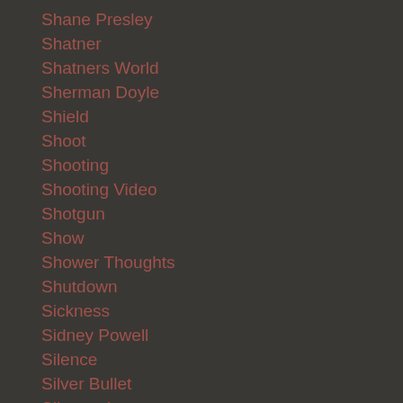Shane Presley
Shatner
Shatners World
Sherman Doyle
Shield
Shoot
Shooting
Shooting Video
Shotgun
Show
Shower Thoughts
Shutdown
Sickness
Sidney Powell
Silence
Silver Bullet
Silverstein
Simone Biles
Six Flags
Skydive
Sky...